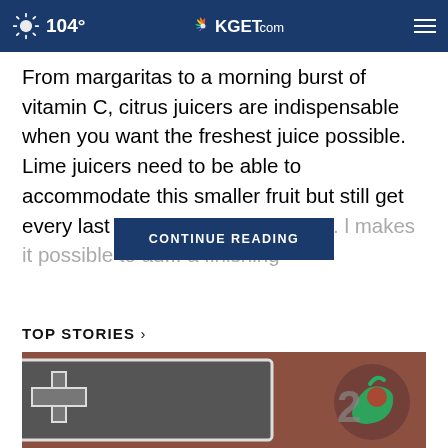104° KGET.com
From margaritas to a morning burst of vitamin C, citrus juicers are indispensable when you want the freshest juice possible. Lime juicers need to be able to accommodate this smaller fruit but still get every last drop of zesty g... makes it possible to ad... a finishing
CONTINUE READING
TOP STORIES ›
[Figure (photo): A store sign with a cross symbol and green leaf/cherry logo on a reddish-brown wall background]